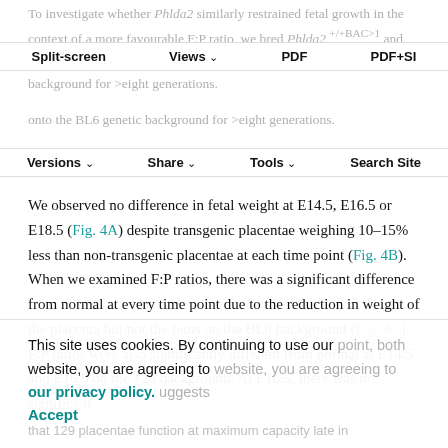To investigate whether Phlda2 similarly restrained fetal growth in the context of a more favourable F:P ratio, we bred Phlda2 +/+BAC>1 and Phlda2 +/+BAC>1 (three copy line) mice onto the BL6 genetic background for >eight generations.
Split-screen | Views | PDF | PDF+SI
Versions | Share | Tools | Search Site
We observed no difference in fetal weight at E14.5, E16.5 or E18.5 (Fig. 4A) despite transgenic placentae weighing 10–15% less than non-transgenic placentae at each time point (Fig. 4B). When we examined F:P ratios, there was a significant difference from normal at every time point due to the reduction in weight of the placenta but not the fetus on the BL6 background (Fig. 4C). F:P ratios were also significantly different from normal at E14.5 and E16.5 on the 129 background. At E18.5, there was no significant
This site uses cookies. By continuing to use our website, you are agreeing to our privacy policy. Accept
point, both suggests that 129 placentae function at maximum capacity late in